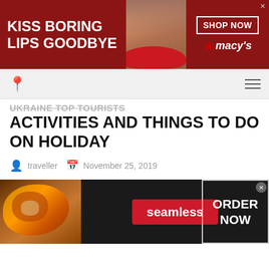[Figure (photo): Macy's advertisement banner: woman with red lipstick, text 'KISS BORING LIPS GOODBYE', 'SHOP NOW' button, Macy's star logo]
Navigation bar with location pin icon and hamburger menu
UKRAINE TOP TOURISTS ACTIVITIES AND THINGS TO DO ON HOLIDAY
traveller   November 25, 2019
Many tourists are looking for UKRAINE TOP TOURISTS ACTIVITIES and things to do on holiday. By the way, Ukraine offers the best entertainments
[Figure (photo): Seamless food delivery advertisement: pizza image on left, 'seamless' red button in center, 'ORDER NOW' white text box on right, dark background]